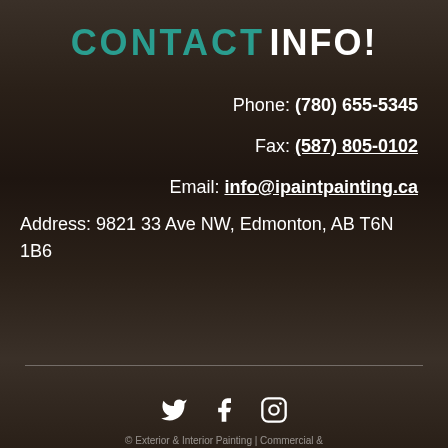CONTACT INFO!
Phone: (780) 655-5345
Fax: (587) 805-0102
Email: info@ipaintpainting.ca
Address: 9821 33 Ave NW, Edmonton, AB T6N 1B6
[Figure (illustration): Social media icons: Twitter, Facebook, Instagram]
© Exterior & Interior Painting | Commercial &...